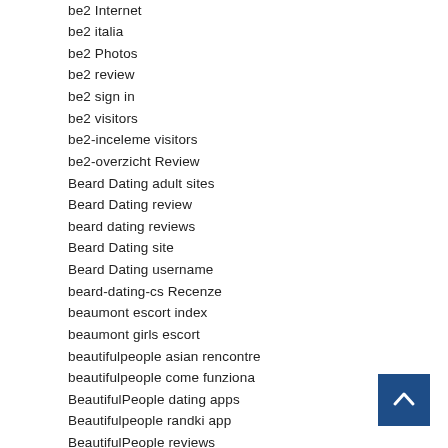be2 Internet
be2 italia
be2 Photos
be2 review
be2 sign in
be2 visitors
be2-inceleme visitors
be2-overzicht Review
Beard Dating adult sites
Beard Dating review
beard dating reviews
Beard Dating site
Beard Dating username
beard-dating-cs Recenze
beaumont escort index
beaumont girls escort
beautifulpeople asian rencontre
beautifulpeople come funziona
BeautifulPeople dating apps
Beautifulpeople randki app
BeautifulPeople reviews
beautifulpeople sign in
BeautifulPeople visitors
beautifulpeople-overzicht Review